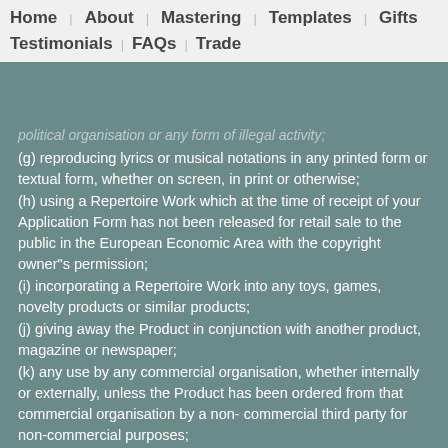Home | About | Mastering | Templates | Gifts | Testimonials | FAQs | Trade
(g) reproducing lyrics or musical notations in any printed form or textual form, whether on screen, in print or otherwise;
(h) using a Repertoire Work which at the time of receipt of your Application Form has not been released for retail sale to the public in the European Economic Area with the copyright owner"s permission;
(i) incorporating a Repertoire Work into any toys, games, novelty products or similar products;
(j) giving away the Product in conjunction with another product, magazine or newspaper;
(k) any use by any commercial organisation, whether internally or externally, unless the Product has been ordered from that commercial organisation by a non- commercial third party for non-commercial purposes;
(l) in relation to Dramatico-Musical Works, the use of: